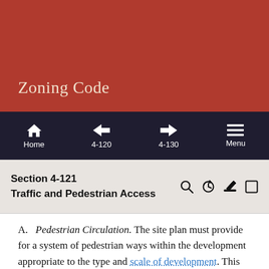Zoning Code
Home | 4-120 | 4-130 | Menu
Section 4-121
Traffic and Pedestrian Access
A. Pedestrian Circulation. The site plan must provide for a system of pedestrian ways within the development appropriate to the type and scale of development. This system must connect the major building entrances/exits with parking areas and with